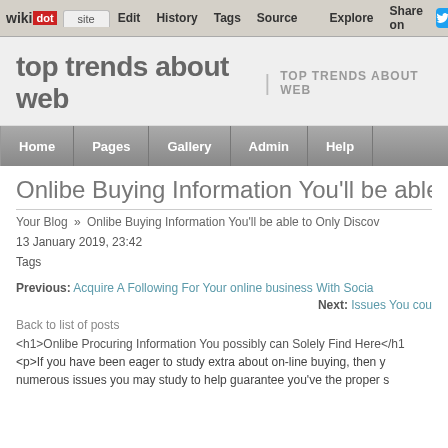wikidot | site Edit History Tags Source Explore Share on [twitter]
top trends about web | TOP TRENDS ABOUT WEB
Home Pages Gallery Admin Help
Onlibe Buying Information You'll be able t
Your Blog » Onlibe Buying Information You'll be able to Only Discov
13 January 2019, 23:42
Tags
Previous: Acquire A Following For Your online business With Socia
Next: Issues You cou
Back to list of posts
<h1>Onlibe Procuring Information You possibly can Solely Find Here</h1
<p>If you have been eager to study extra about on-line buying, then y numerous issues you may study to help guarantee you've the proper s